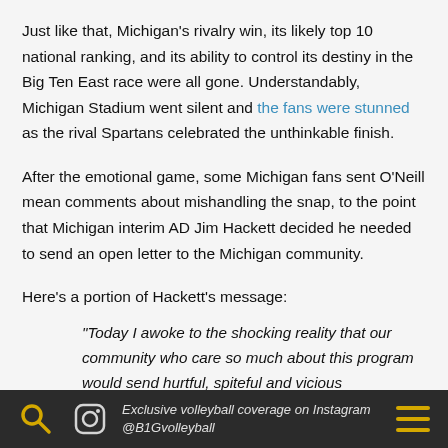Just like that, Michigan's rivalry win, its likely top 10 national ranking, and its ability to control its destiny in the Big Ten East race were all gone. Understandably, Michigan Stadium went silent and the fans were stunned as the rival Spartans celebrated the unthinkable finish.
After the emotional game, some Michigan fans sent O'Neill mean comments about mishandling the snap, to the point that Michigan interim AD Jim Hackett decided he needed to send an open letter to the Michigan community.
Here's a portion of Hackett's message:
"Today I awoke to the shocking reality that our community who care so much about this program would send hurtful, spiteful and vicious comments to one of our students," Hackett wrote. "To be clear, such comments come from a small minority, none
Exclusive volleyball coverage on Instagram @B1Gvolleyball